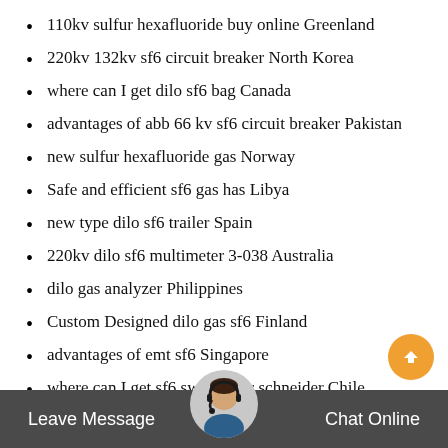110kv sulfur hexafluoride buy online Greenland
220kv 132kv sf6 circuit breaker North Korea
where can I get dilo sf6 bag Canada
advantages of abb 66 kv sf6 circuit breaker Pakistan
new sulfur hexafluoride gas Norway
Safe and efficient sf6 gas has Libya
new type dilo sf6 trailer Spain
220kv dilo sf6 multimeter 3-038 Australia
dilo gas analyzer Philippines
Custom Designed dilo gas sf6 Finland
advantages of emt sf6 Singapore
where can I get sf6 switchgear schneider Chile
oem abb sf6 circuit breaker Colombia
40 5kv sf6 generator circuit breaker Ecuador
Leave Message   Chat Online